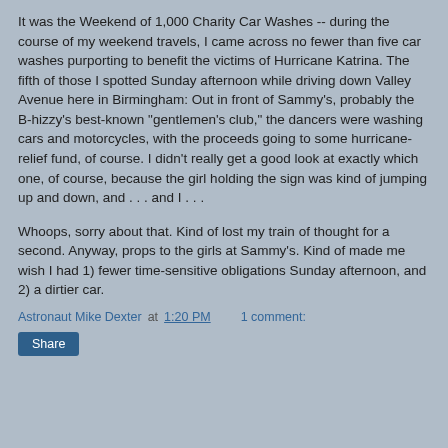It was the Weekend of 1,000 Charity Car Washes -- during the course of my weekend travels, I came across no fewer than five car washes purporting to benefit the victims of Hurricane Katrina. The fifth of those I spotted Sunday afternoon while driving down Valley Avenue here in Birmingham: Out in front of Sammy's, probably the B-hizzy's best-known "gentlemen's club," the dancers were washing cars and motorcycles, with the proceeds going to some hurricane-relief fund, of course. I didn't really get a good look at exactly which one, of course, because the girl holding the sign was kind of jumping up and down, and . . . and I . . .
Whoops, sorry about that. Kind of lost my train of thought for a second. Anyway, props to the girls at Sammy's. Kind of made me wish I had 1) fewer time-sensitive obligations Sunday afternoon, and 2) a dirtier car.
Astronaut Mike Dexter at 1:20 PM    1 comment:
Share